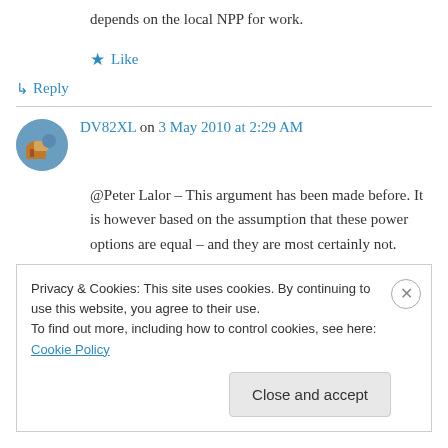depends on the local NPP for work.
★ Like
↳ Reply
DV82XL on 3 May 2010 at 2:29 AM
@Peter Lalor – This argument has been made before. It is however based on the assumption that these power options are equal – and they are most certainly not.
Privacy & Cookies: This site uses cookies. By continuing to use this website, you agree to their use. To find out more, including how to control cookies, see here: Cookie Policy
Close and accept